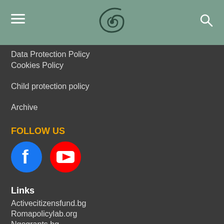[Figure (logo): Spiral/swirl logo in dark green on sage green header background]
Data Protection Policy
Cookies Policy
Child protection policy
Archive
FOLLOW US
[Figure (illustration): Facebook icon (blue circle with white F) and YouTube icon (red circle with white play button)]
Links
Activecitizensfund.bg
Romapolicylab.org
Ngogrants.bg